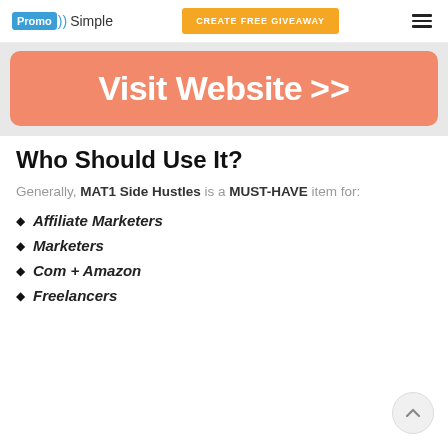PromoSimple | CREATE FREE GIVEAWAY
[Figure (illustration): Orange rounded banner button with text 'Visit Website >>']
Who Should Use It?
Generally, MAT1 Side Hustles is a MUST-HAVE item for:
Affiliate Marketers
Marketers
Com + Amazon
Freelancers